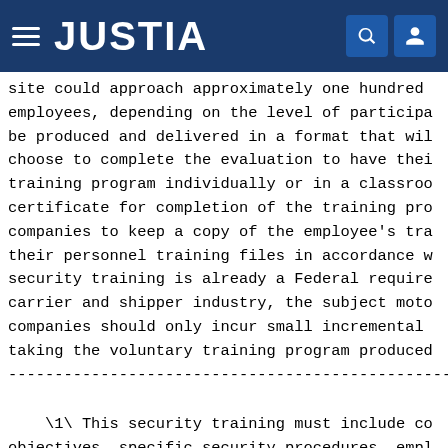JUSTIA
site could approach approximately one hundred employees, depending on the level of participa be produced and delivered in a format that wil choose to complete the evaluation to have thei training program individually or in a classroo certificate for completion of the training pro companies to keep a copy of the employee's tra their personnel training files in accordance w security training is already a Federal require carrier and shipper industry, the subject moto companies should only incur small incremental taking the voluntary training program produced
------------------------------------------------------------------------
\1\ This security training must include co objectives, specific security procedures, empl actions to take in the event of a security br